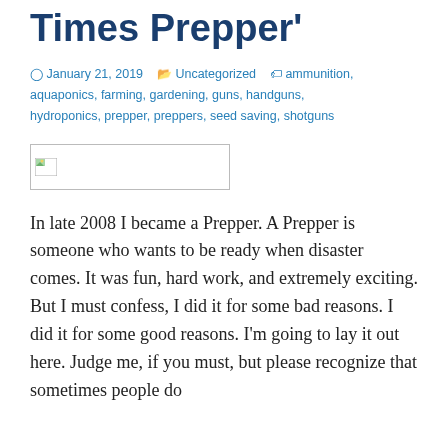Times Prepper'
January 21, 2019  Uncategorized  ammunition, aquaponics, farming, gardening, guns, handguns, hydroponics, prepper, preppers, seed saving, shotguns
[Figure (photo): Broken/missing image placeholder with small landscape icon]
In late 2008 I became a Prepper. A Prepper is someone who wants to be ready when disaster comes. It was fun, hard work, and extremely exciting. But I must confess, I did it for some bad reasons. I did it for some good reasons. I'm going to lay it out here. Judge me, if you must, but please recognize that sometimes people do